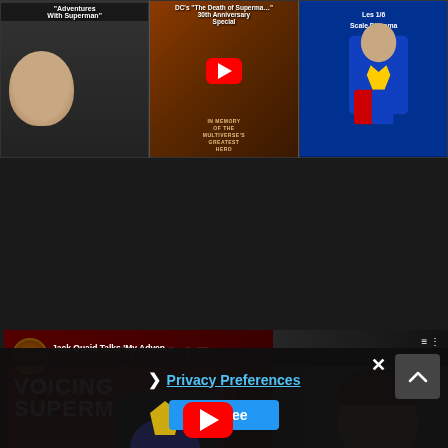[Figure (screenshot): Row of three YouTube video thumbnails. Left: 'Adventures With Superman' showing a young man's face. Middle: DC's 'The Death of Superman...' 30th Anniversary Special with YouTube play button. Right: 'Les 1/6 Scale Diorama' showing Superman figurines.]
[Figure (screenshot): Large YouTube video thumbnail for 'Jack Quaid Talks My Adven...' showing Jack Quaid talking about Voicing Superman, with red background, large bold text 'VOICING SUPERMAN' and YouTube play button overlay.]
[Figure (screenshot): Partially visible Superman figure at bottom of page with dark overlay and privacy consent bar showing 'Privacy Preferences' link, 'I Agree' button, and X close button.]
Privacy Preferences
I Agree